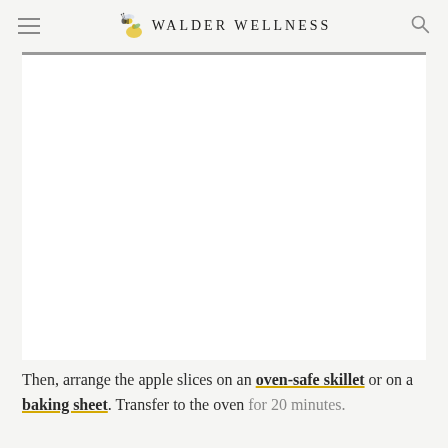WALDER WELLNESS
[Figure (photo): White image area placeholder — food/recipe photo (apple slices on skillet or baking sheet)]
Then, arrange the apple slices on an oven-safe skillet or on a baking sheet. Transfer to the oven for 20 minutes.